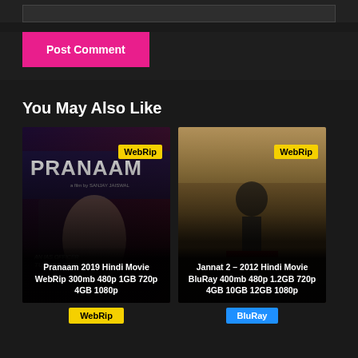[Figure (screenshot): Text input box at top of page, dark background]
[Figure (screenshot): Pink 'Post Comment' button]
You May Also Like
[Figure (photo): Movie poster for Pranaam 2019 Hindi Movie with WebRip badge and title overlay reading 'Pranaam 2019 Hindi Movie WebRip 300mb 480p 1GB 720p 4GB 1080p']
[Figure (photo): Movie poster for Jannat 2 2012 Hindi Movie with WebRip badge and title overlay reading 'Jannat 2 – 2012 Hindi Movie BluRay 400mb 480p 1.2GB 720p 4GB 10GB 12GB 1080p']
WebRip
BluRay